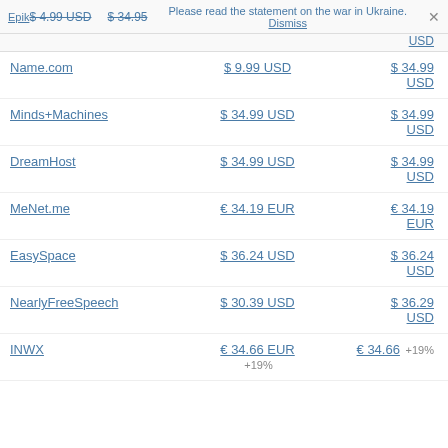Please read the statement on the war in Ukraine. Dismiss ×
| Registrar | Registration Price | Renewal Price |
| --- | --- | --- |
| Epik | $ 4.99 USD | $ 34.95 USD |
| Name.com | $ 9.99 USD | $ 34.99 USD |
| Minds+Machines | $ 34.99 USD | $ 34.99 USD |
| DreamHost | $ 34.99 USD | $ 34.99 USD |
| MeNet.me | € 34.19 EUR | € 34.19 EUR |
| EasySpace | $ 36.24 USD | $ 36.24 USD |
| NearlyFreeSpeech | $ 30.39 USD | $ 36.29 USD |
| INWX | € 34.66 EUR +19% | € 34.66 +19% |